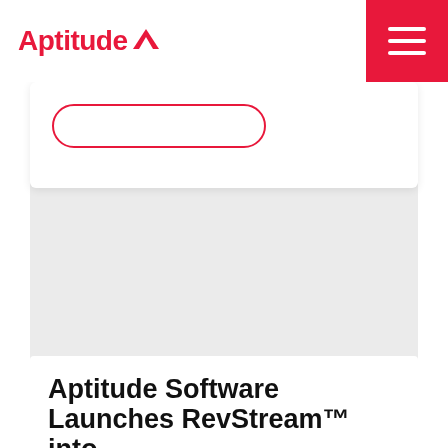Aptitude
[Figure (logo): Aptitude logo with red text and triangle icon, plus hamburger menu button in red square on right]
[Figure (screenshot): Partial white card with red pill-shaped button outline visible at top, followed by large gray placeholder image area]
Aptitude Software Launches RevStream™ into